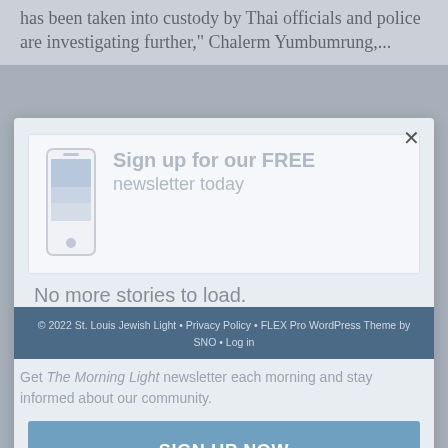has been taken into custody by Thai officials and police are investigating further," Chalerm Yumbumrung,...
No more stories to load.
Sign up for our FREE newsletter today
© 2022 St. Louis Jewish Light • Privacy Policy • FLEX Pro WordPress Theme by SNO • Log in
Get The Morning Light newsletter each morning and stay informed about our community.
SIGN UP NOW